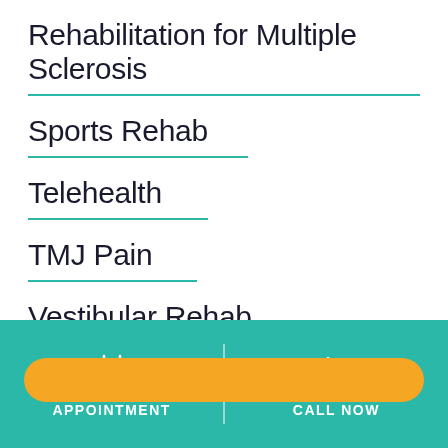Rehabilitation for Multiple Sclerosis
Sports Rehab
Telehealth
TMJ Pain
Vestibular Rehab
Work & Industry
[Figure (other): Orange rounded button for appointment booking]
APPOINTMENT   CALL NOW